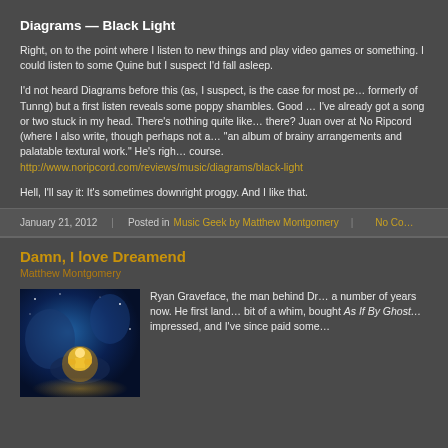Diagrams — Black Light
Right, on to the point where I listen to new things and play video games or something. I could listen to some Quine but I suspect I'd fall asleep.
I'd not heard Diagrams before this (as, I suspect, is the case for most people; Sam Genders, formerly of Tunng) but a first listen reveals some poppy shambles. Good stuff, in other words, and I've already got a song or two stuck in my head. There's nothing quite like that, is there? Juan over at No Ripcord (where I also write, though perhaps not as much as I should) calls it "an album of brainy arrangements and palatable textural work." He's right, of course. http://www.noripcord.com/reviews/music/diagrams/black-light
Hell, I'll say it: It's sometimes downright proggy. And I like that.
January 21, 2012   Posted in Music Geek by Matthew Montgomery   No Co...
Damn, I love Dreamend
Matthew Montgomery
[Figure (photo): Album artwork — blue and gold cosmic illustration with a glowing figure]
Ryan Graveface, the man behind Dr... a number of years now. He first land... bit of a whim, bought As If By Ghost... impressed, and I've since paid some...